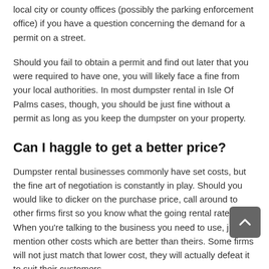local city or county offices (possibly the parking enforcement office) if you have a question concerning the demand for a permit on a street.
Should you fail to obtain a permit and find out later that you were required to have one, you will likely face a fine from your local authorities. In most dumpster rental in Isle Of Palms cases, though, you should be just fine without a permit as long as you keep the dumpster on your property.
Can I haggle to get a better price?
Dumpster rental businesses commonly have set costs, but the fine art of negotiation is constantly in play. Should you would like to dicker on the purchase price, call around to other firms first so you know what the going rental rate is. When you're talking to the business you need to use, just mention other costs which are better than theirs. Some firms will not just match that lower cost, they will actually defeat it to suit their customers.